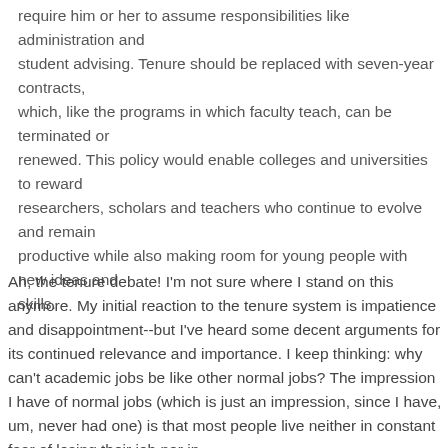require him or her to assume responsibilities like administration and student advising. Tenure should be replaced with seven-year contracts, which, like the programs in which faculty teach, can be terminated or renewed. This policy would enable colleges and universities to reward researchers, scholars and teachers who continue to evolve and remain productive while also making room for young people with new ideas and skills.
Ah, the tenure debate! I'm not sure where I stand on this anymore. My initial reaction to the tenure system is impatience and disappointment--but I've heard some decent arguments for its continued relevance and importance. I keep thinking: why can't academic jobs be like other normal jobs? The impression I have of normal jobs (which is just an impression, since I have, um, never had one) is that most people live neither in constant fear of losing their job nor in